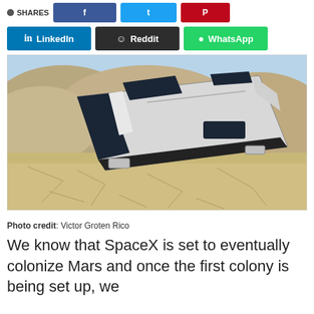SHARES [Facebook] [Twitter] [Pinterest]
LinkedIn
Reddit
WhatsApp
[Figure (photo): A futuristic sci-fi vehicle or habitat module resting on a cracked desert/Mars-like surface with rocky hills in the background. The vehicle is sleek, silver and dark blue/black, with an angular boxy shape and solar panel-like features on top.]
Photo credit: Victor Groten Rico
We know that SpaceX is set to eventually colonize Mars and once the first colony is being set up, we